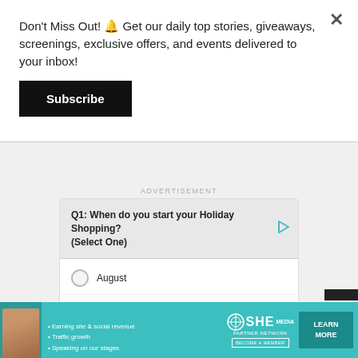Don't Miss Out! 🔔 Get our daily top stories, giveaways, screenings, exclusive offers, and events delivered to your inbox!
Subscribe
ADVERTISEMENT
Q1: When do you start your Holiday Shopping? (Select One)
August
September
October
[Figure (infographic): SHE Partner Network advertisement banner with woman photo, bullet points about earning site & social revenue, traffic growth, speaking on our stages, SHE logo, LEARN MORE button]